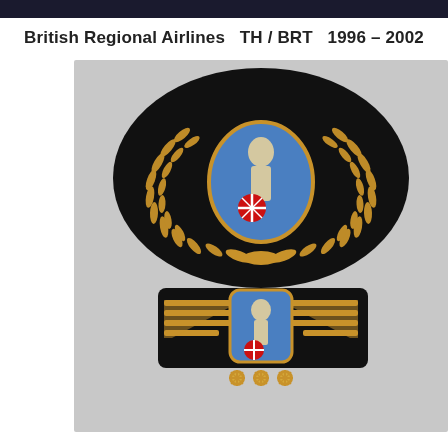British Regional Airlines   TH / BRT   1996 – 2002
[Figure (photo): Two British Regional Airlines uniform badges on black fabric. Top: a large cap badge featuring a gold laurel wreath surrounding a central oval with a blue background showing a silver figure of Britannia and a red Union Jack-style starburst emblem. Bottom: a gold pilot's wings badge with horizontal gold bars on each side and a central oval shield showing Britannia with the same emblem. Three small gold star/sun rosettes are attached below the wings badge.]